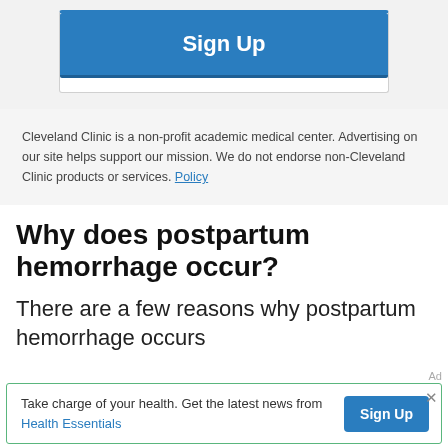[Figure (screenshot): Blue 'Sign Up' button inside a card with top blue border, on a light gray background]
Cleveland Clinic is a non-profit academic medical center. Advertising on our site helps support our mission. We do not endorse non-Cleveland Clinic products or services. Policy
Why does postpartum hemorrhage occur?
There are a few reasons why postpartum hemorrhage occurs
Ad
Take charge of your health. Get the latest news from Health Essentials  Sign Up